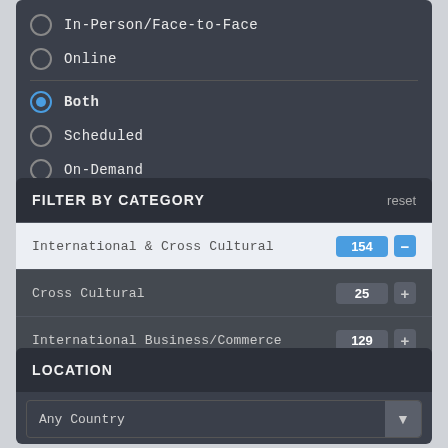In-Person/Face-to-Face
Online
Both (selected)
Scheduled
On-Demand
FILTER BY CATEGORY
International & Cross Cultural — 154 (expanded, minus)
Cross Cultural — 25 (collapsed, plus)
International Business/Commerce — 129 (collapsed, plus)
Language Skills — 7 (collapsed, plus)
LOCATION
Any Country (dropdown)